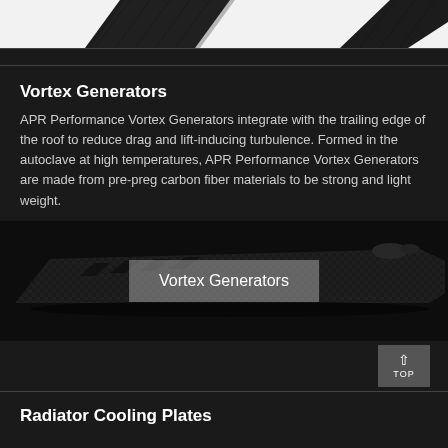[Figure (photo): Top partial view of carbon fiber vortex generator fins on white background, cropped at top of page]
Vortex Generators
APR Performance Vortex Generators integrate with the trailing edge of the roof to reduce drag and lift-inducing turbulence. Formed in the autoclave at high temperatures, APR Performance Vortex Generators are made from pre-preg carbon fiber materials to be strong and light weight.
[Figure (photo): Carbon fiber vortex generator strip product photo on dark background with overlaid grey label reading 'Vortex Generators']
Radiator Cooling Plates